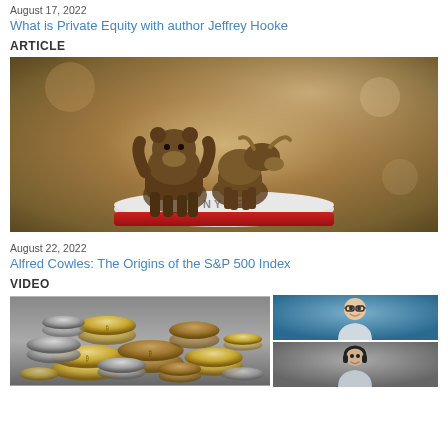August 17, 2022
What is Private Equity with author Jeffrey Hooke
ARTICLE
[Figure (photo): Close-up photograph of bronze bull and bear figurines on top of a red-rimmed base/jar, with blurred background]
August 22, 2022
Alfred Cowles: The Origins of the S&P 500 Index
VIDEO
[Figure (photo): Two-panel image: left shows a pile of gold and silver coins (cryptocurrency/Bitcoin themed); right shows two video thumbnails of a man with glasses smiling against a blue background, and another person below]